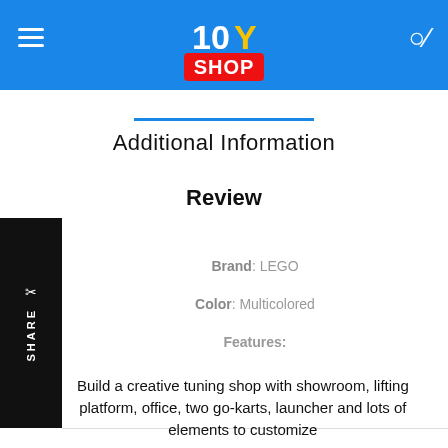TOY SHOP
Additional Information
Review
Brand: LEGO
Color: Multicolored
Features:
Build a creative tuning shop with showroom, lifting platform, office, two go-karts, launcher and lots of elements to customize